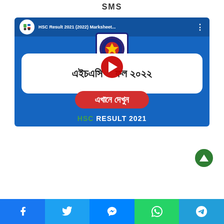SMS
[Figure (screenshot): YouTube video thumbnail for HSC Result 2021 (2022) Marksheet showing Bengali text and red play button with 'এখানে দেখুন' button and 'HSC RESULT 2021' label]
[Figure (other): Scroll to top green circular button]
[Figure (other): Social share bar with Facebook, Twitter, Messenger, WhatsApp, Telegram buttons]